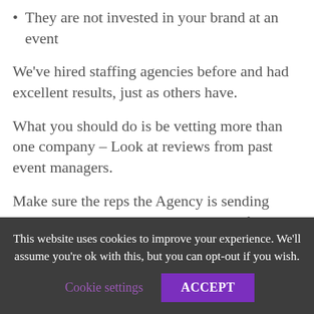They are not invested in your brand at an event
We've hired staffing agencies before and had excellent results, just as others have.
What you should do is be vetting more than one company – Look at reviews from past event managers.
Make sure the reps the Agency is sending have some experience with the type of event you are planning.
This website uses cookies to improve your experience. We'll assume you're ok with this, but you can opt-out if you wish.
Cookie settings
ACCEPT